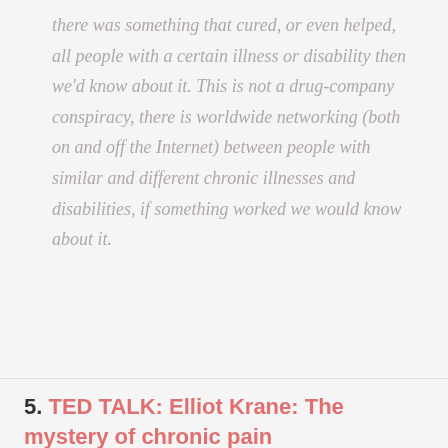there was something that cured, or even helped, all people with a certain illness or disability then we'd know about it. This is not a drug-company conspiracy, there is worldwide networking (both on and off the Internet) between people with similar and different chronic illnesses and disabilities, if something worked we would know about it.
5. TED TALK: Elliot Krane: The mystery of chronic pain